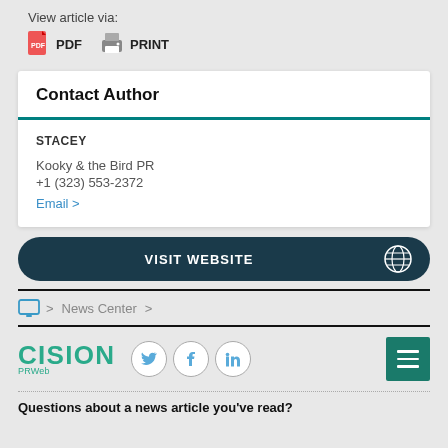View article via:
PDF   PRINT
Contact Author
STACEY
Kooky & the Bird PR
+1 (323) 553-2372
Email >
VISIT WEBSITE
> News Center >
[Figure (logo): Cision PRWeb logo with social media icons (Twitter, Facebook, LinkedIn) and hamburger menu button]
Questions about a news article you've read?